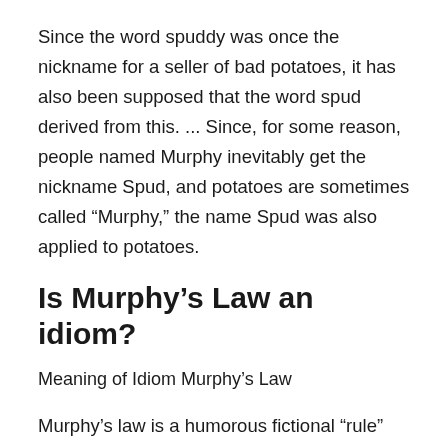Since the word spuddy was once the nickname for a seller of bad potatoes, it has also been supposed that the word spud derived from this. ... Since, for some reason, people named Murphy inevitably get the nickname Spud, and potatoes are sometimes called “Murphy,” the name Spud was also applied to potatoes.
Is Murphy’s Law an idiom?
Meaning of Idiom Murphy’s Law
Murphy’s law is a humorous fictional “rule” that says anything that can go wrong will go wrong. ... There can be other, more specific meanings for the idiom Murphy’s law such as nothing is ever as easy as it looks or